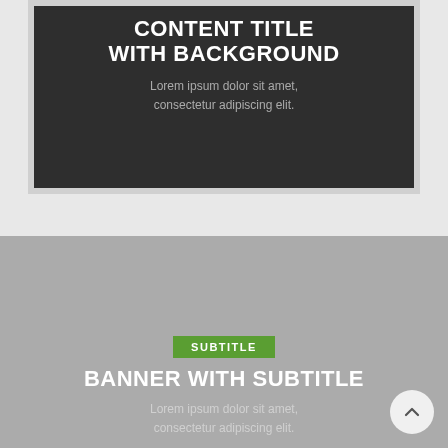CONTENT TITLE WITH BACKGROUND
Lorem ipsum dolor sit amet, consectetur adipiscing elit.
SUBTITLE
BANNER WITH SUBTITLE
Lorem ipsum dolor sit amet, consectetur adipiscing elit.